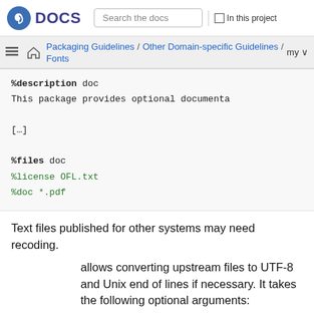DOCS | Search the docs | In this project
Packaging Guidelines / Other Domain-specific Guidelines / Fonts | my
%description doc
This package provides optional documenta

[…]

%files doc
%license OFL.txt
%doc *.pdf
Text files published for other systems may need recoding.
allows converting upstream files to UTF-8 and Unix end of lines if necessary. It takes the following optional arguments: